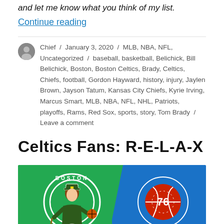and let me know what you think of my list.
Continue reading
Chief / January 3, 2020 / MLB, NBA, NFL, Uncategorized / baseball, basketball, Belichick, Bill Belichick, Boston, Boston Celtics, Brady, Celtics, Chiefs, football, Gordon Hayward, history, injury, Jaylen Brown, Jayson Tatum, Kansas City Chiefs, Kyrie Irving, Marcus Smart, MLB, NBA, NFL, NHL, Patriots, playoffs, Rams, Red Sox, sports, story, Tom Brady / Leave a comment
Celtics Fans: R-E-L-A-X
[Figure (photo): Boston Celtics logo on green background next to Philadelphia 76ers logo on blue background]